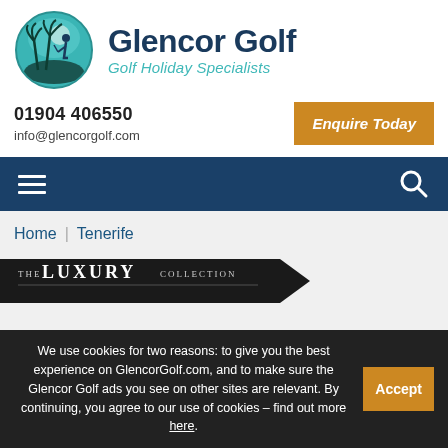[Figure (logo): Glencor Golf logo: teal circle with silhouette of golfer and palm trees, beside bold dark blue 'Glencor Golf' text and teal italic 'Golf Holiday Specialists' subtitle]
01904 406550
info@glencorgolf.com
Enquire Today
[Figure (other): Dark blue navigation bar with hamburger menu icon on the left and search (magnifying glass) icon on the right]
Home | Tenerife
[Figure (other): THE LUXURY COLLECTION banner on dark arrow/chevron shape background]
We use cookies for two reasons: to give you the best experience on GlencorGolf.com, and to make sure the Glencor Golf ads you see on other sites are relevant. By continuing, you agree to our use of cookies – find out more here.
Accept